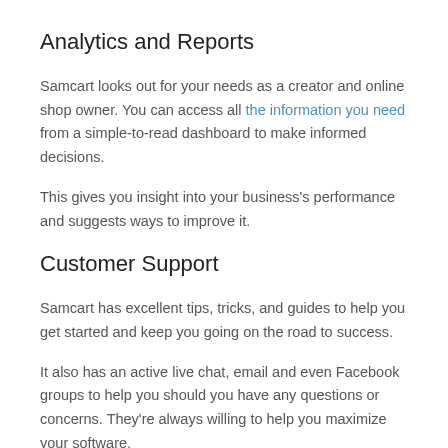Analytics and Reports
Samcart looks out for your needs as a creator and online shop owner. You can access all the information you need from a simple-to-read dashboard to make informed decisions.
This gives you insight into your business's performance and suggests ways to improve it.
Customer Support
Samcart has excellent tips, tricks, and guides to help you get started and keep you going on the road to success.
It also has an active live chat, email and even Facebook groups to help you should you have any questions or concerns. They're always willing to help you maximize your software.